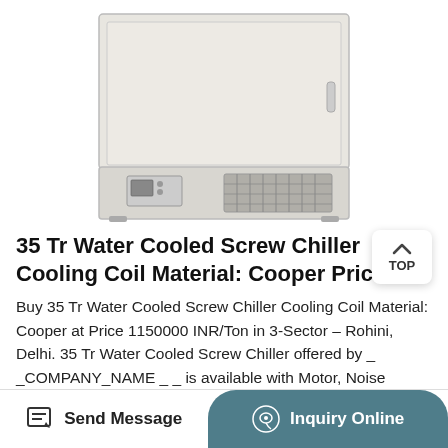[Figure (photo): White industrial water cooled screw chiller unit with ventilation grilles at the bottom and control panel]
35 Tr Water Cooled Screw Chiller Cooling Coil Material: Cooper Price ...
Buy 35 Tr Water Cooled Screw Chiller Cooling Coil Material: Cooper at Price 1150000 INR/Ton in 3-Sector - Rohini, Delhi. 35 Tr Water Cooled Screw Chiller offered by _ _COMPANY_NAME _ _ is available with Motor, Noise Control and trade infomation.